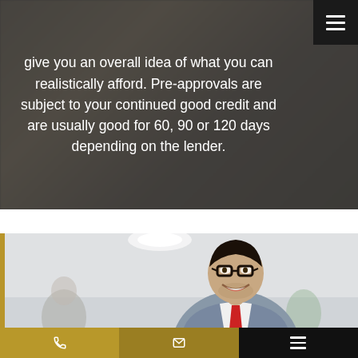give you an overall idea of what you can realistically afford. Pre-approvals are subject to your continued good credit and are usually good for 60, 90 or 120 days depending on the lender.
[Figure (photo): Photo of a smiling businessman wearing glasses and a red tie in a blue suit, in an office environment with blurred colleagues in the background]